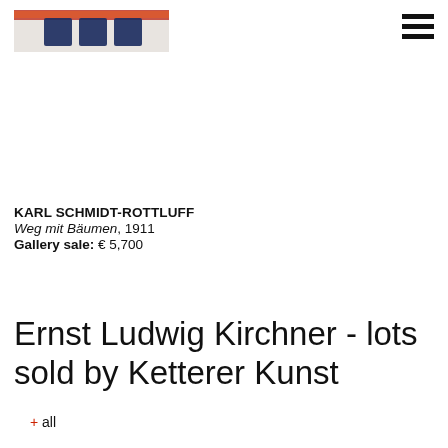[Figure (photo): Thumbnail image of artwork by Karl Schmidt-Rottluff with red/orange and blue colors]
KARL SCHMIDT-ROTTLUFF
Weg mit Bäumen, 1911
Gallery sale: € 5,700
Ernst Ludwig Kirchner - lots sold by Ketterer Kunst
+ all